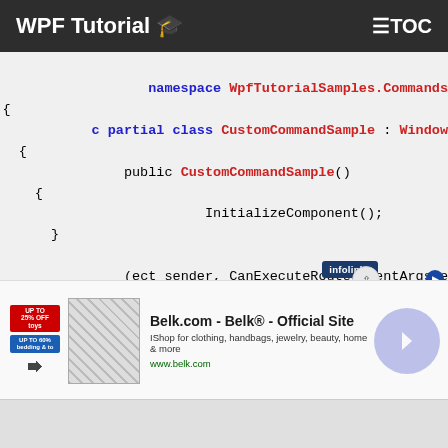WPF Tutorial 🎓  ≡TOC
[Figure (screenshot): C# code snippet showing namespace WpfTutorialSamples.Commands, partial class CustomCommandSample : Window, public CustomCommandSample() constructor with InitializeComponent(), and a CanExecute handler with sender, CanExecuteRoutedEventArgs e parameter, and e.CanExecute = true]
[Figure (infographic): Belk.com advertisement banner: 'Belk.com - Belk® - Official Site, IShop for clothing, handbags, jewelry, beauty, home & more, www.belk.com' with a product image and navigation button]